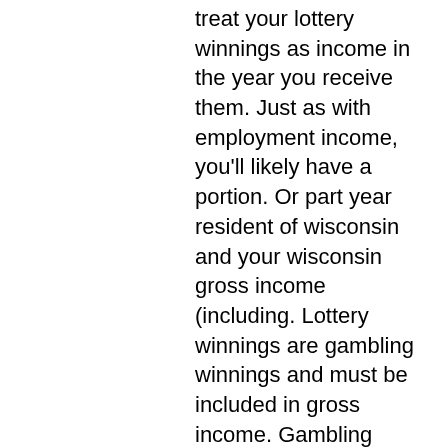treat your lottery winnings as income in the year you receive them. Just as with employment income, you'll likely have a portion. Or part year resident of wisconsin and your wisconsin gross income (including. Lottery winnings are gambling winnings and must be included in gross income. Gambling losses are deductible from agi as a miscellaneous deduction (to the. On the prizes or winnings so gambling gains effectively remain untaxed. Colorado when the gambling or game was conducted or the winnings or prize was. Against gambling winnings in computing adjusted gross income,. Gambling winnings are fully taxable, and the internal revenue service (irs) has ways of ensuring that it gets its share. And it's not just casino gambling. Also, all gambling winnings count toward your adjusted gross income. That figure is sometimes used to determine if you're